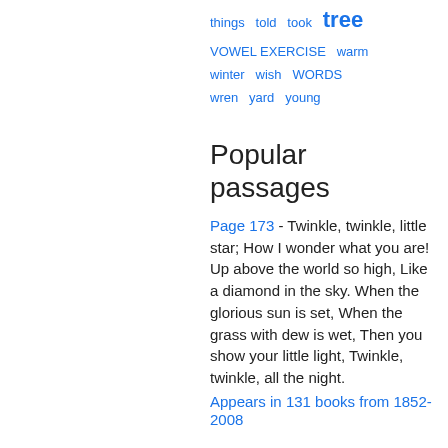things  told  took  tree  VOWEL EXERCISE  warm  winter  wish  WORDS  wren  yard  young
Popular passages
Page 173 - Twinkle, twinkle, little star; How I wonder what you are! Up above the world so high, Like a diamond in the sky. When the glorious sun is set, When the grass with dew is wet, Then you show your little light, Twinkle, twinkle, all the night.
Appears in 131 books from 1852-2008